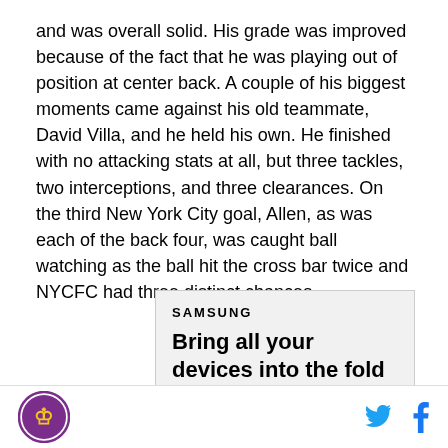and was overall solid. His grade was improved because of the fact that he was playing out of position at center back. A couple of his biggest moments came against his old teammate, David Villa, and he held his own. He finished with no attacking stats at all, but three tackles, two interceptions, and three clearances. On the third New York City goal, Allen, as was each of the back four, was caught ball watching as the ball hit the cross bar twice and NYCFC had three distinct chances.
[Figure (other): Samsung advertisement: 'Bring all your devices into the fold']
Site logo | Twitter icon | Facebook icon